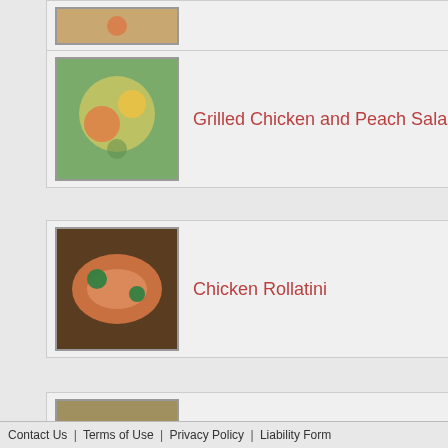[Figure (photo): Food image thumbnail at top]
Grilled Chicken and Peach Salad
Chicken Rollatini
Greek Style Fries Supreme
Portobella & Red Pepper Naan Pizza
Here is a sample of our latest recipes. View all of them using the link below.
View All Recipes
[Figure (photo): Side column top food photo]
Learn how to UNco
[Figure (photo): Side column person photo 1]
Want to
[Figure (photo): Side column landscape photo]
3 Foods
[Figure (photo): Side column person on beach photo]
Need to health?
Here is a sample of o them using the link b
Contact Us | Terms of Use | Privacy Policy | Liability Form